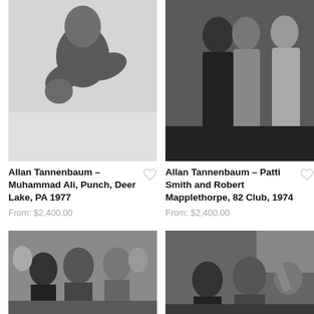[Figure (photo): Black and white photo of Muhammad Ali shirtless in boxing stance, fist raised toward camera]
Allan Tannenbaum – Muhammad Ali, Punch, Deer Lake, PA 1977
From: $2,400.00
[Figure (photo): Black and white photo of Patti Smith and Robert Mapplethorpe standing together at club]
Allan Tannenbaum – Patti Smith and Robert Mapplethorpe, 82 Club, 1974
From: $2,400.00
[Figure (photo): Black and white photo of rock musicians performing or celebrating at a party]
[Figure (photo): Black and white photo of crowd of people at a disco or club event]